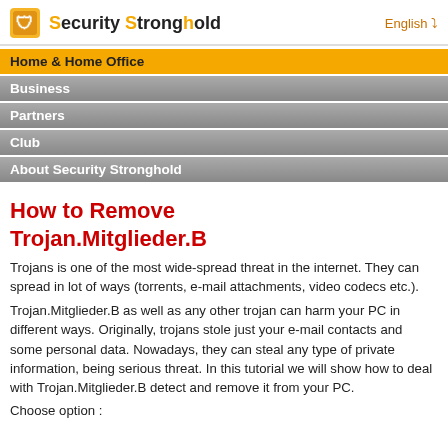Security Stronghold  English
Home & Home Office
Business
Partners
Club
About Security Stronghold
How to Remove Trojan.Mitglieder.B
Trojans is one of the most wide-spread threat in the internet. They can spread in lot of ways (torrents, e-mail attachments, video codecs etc.).
Trojan.Mitglieder.B as well as any other trojan can harm your PC in different ways. Originally, trojans stole just your e-mail contacts and some personal data. Nowadays, they can steal any type of private information, being serious threat. In this tutorial we will show how to deal with Trojan.Mitglieder.B detect and remove it from your PC.
Choose option :